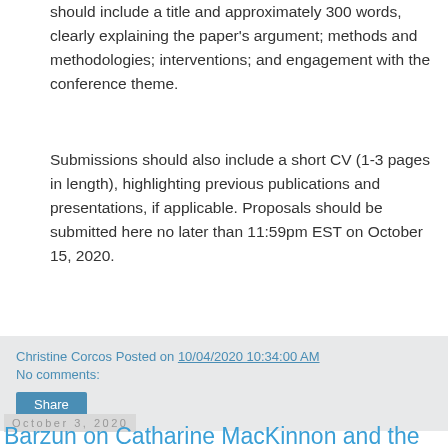should include a title and approximately 300 words, clearly explaining the paper's argument; methods and methodologies; interventions; and engagement with the conference theme.
Submissions should also include a short CV (1-3 pages in length), highlighting previous publications and presentations, if applicable. Proposals should be submitted here no later than 11:59pm EST on October 15, 2020.
Christine Corcos Posted on 10/04/2020 10:34:00 AM
No comments:
Share
October 3, 2020
Barzun on Catharine MacKinnon and the Common Law @UVALaw